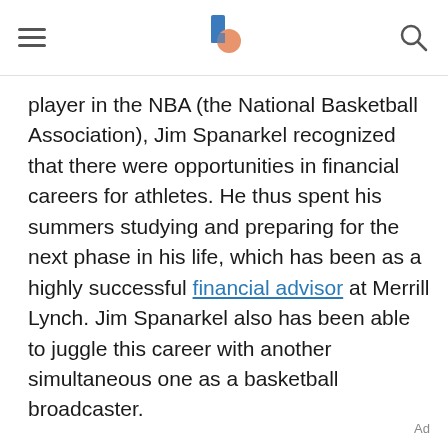[hamburger menu] [logo] [search icon]
player in the NBA (the National Basketball Association), Jim Spanarkel recognized that there were opportunities in financial careers for athletes. He thus spent his summers studying and preparing for the next phase in his life, which has been as a highly successful financial advisor at Merrill Lynch. Jim Spanarkel also has been able to juggle this career with another simultaneous one as a basketball broadcaster.
Ad